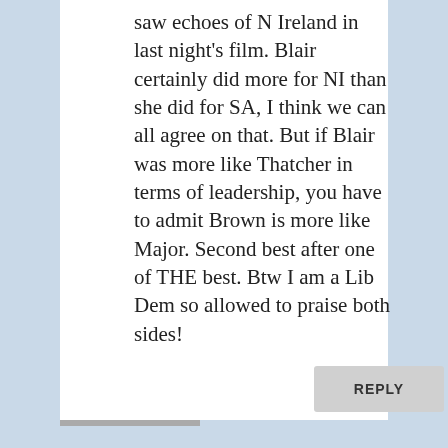saw echoes of N Ireland in last night's film. Blair certainly did more for NI than she did for SA, I think we can all agree on that. But if Blair was more like Thatcher in terms of leadership, you have to admit Brown is more like Major. Second best after one of THE best. Btw I am a Lib Dem so allowed to praise both sides!